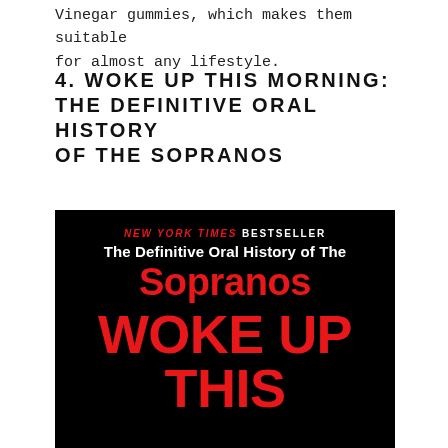Vinegar gummies, which makes them suitable for almost any lifestyle.
4. WOKE UP THIS MORNING: THE DEFINITIVE ORAL HISTORY OF THE SOPRANOS
[Figure (photo): Book cover of 'Woke Up This Morning: The Definitive Oral History of The Sopranos' — black background with red and white text. Top reads 'NEW YORK TIMES BESTSELLER' in red italic and white. Below: 'The Definitive Oral History of The' in white bold, then 'Sopranos' in red large letters, then 'WOKE UP THIS' in large red bold letters at the bottom.]